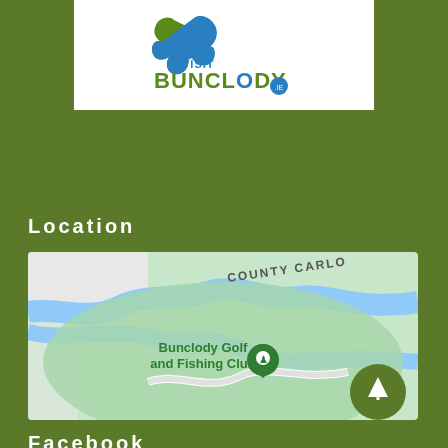[Figure (logo): Visit Bunclody logo with green swoosh and blue river design, white background]
Location
[Figure (map): Google Maps screenshot showing Bunclody Golf and Fishing Club location with COUNTY CARLOW label, river/green park area, and navigation button]
Facebook